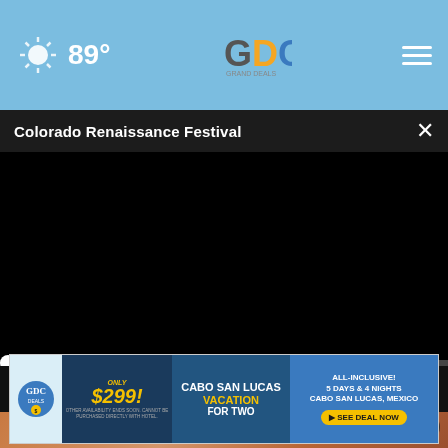89°
Colorado Renaissance Festival
[Figure (screenshot): Black video player area with progress bar at bottom showing 00:00 timestamp, play button, mute button, and fullscreen button on dark control bar]
[Figure (photo): Background photo showing a person in Renaissance festival costume with decorative fabric/clothing]
[Figure (infographic): Advertisement banner: ONLY $299! Cabo San Lucas Vacation for Two - All-Inclusive! 5 Days & 4 Nights Cabo San Lucas, Mexico - See Deal Now]